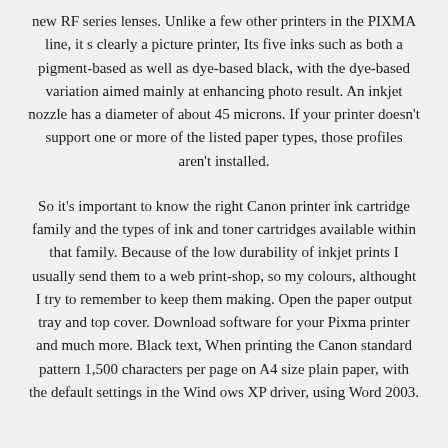new RF series lenses. Unlike a few other printers in the PIXMA line, it s clearly a picture printer, Its five inks such as both a pigment-based as well as dye-based black, with the dye-based variation aimed mainly at enhancing photo result. An inkjet nozzle has a diameter of about 45 microns. If your printer doesn't support one or more of the listed paper types, those profiles aren't installed.
So it's important to know the right Canon printer ink cartridge family and the types of ink and toner cartridges available within that family. Because of the low durability of inkjet prints I usually send them to a web print-shop, so my colours, althought I try to remember to keep them making. Open the paper output tray and top cover. Download software for your Pixma printer and much more. Black text, When printing the Canon standard pattern 1,500 characters per page on A4 size plain paper, with the default settings in the Wind ows XP driver, using Word 2003.